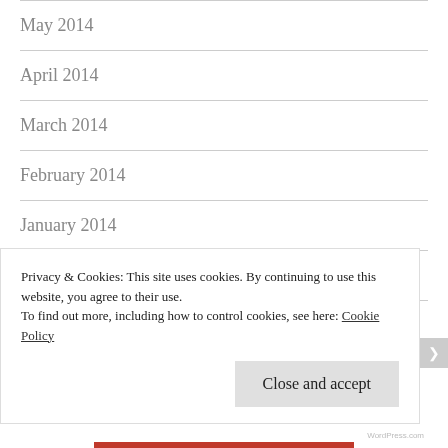May 2014
April 2014
March 2014
February 2014
January 2014
December 2013
November 2013
Privacy & Cookies: This site uses cookies. By continuing to use this website, you agree to their use.
To find out more, including how to control cookies, see here: Cookie Policy